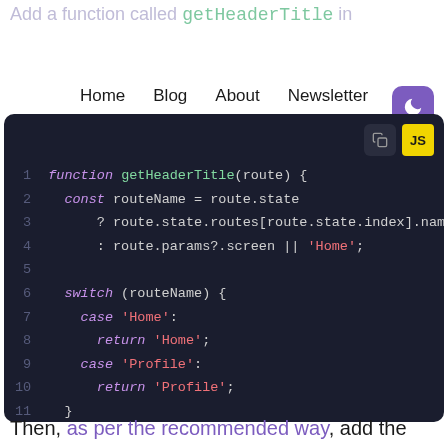Add a function called getHeaderTitle in
[Figure (screenshot): Navigation bar with links: Home, Blog, About, Newsletter and a purple moon/dark-mode button]
[Figure (screenshot): Dark-themed code editor showing a JavaScript function getHeaderTitle with a switch statement, lines 1-12]
Then, as per the recommended way, add the